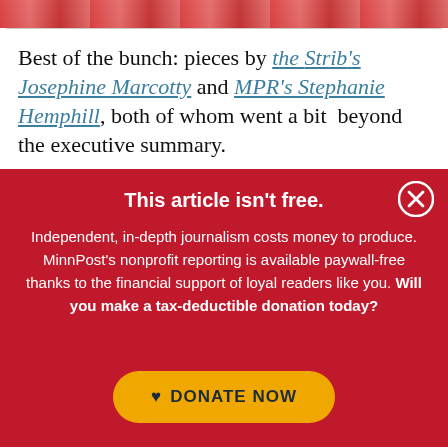[Figure (photo): Partial cropped photo visible at top of page, pinkish-red tones]
Best of the bunch: pieces by the Strib's Josephine Marcotty and MPR's Stephanie Hemphill, both of whom went a bit beyond the executive summary.
This article isn't free.
Independent, in-depth journalism costs money to produce. MinnPost's nonprofit reporting is available paywall-free thanks to the financial support of loyal readers like you. Will you make a tax-deductible donation today?
DONATE NOW